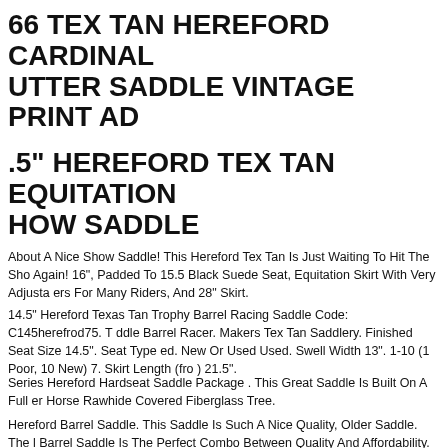66 TEX TAN HEREFORD CARDINAL UTTER SADDLE VINTAGE PRINT AD
.5" HEREFORD TEX TAN EQUITATION HOW SADDLE
About A Nice Show Saddle! This Hereford Tex Tan Is Just Waiting To Hit The Sho Again! 16", Padded To 15.5 Black Suede Seat, Equitation Skirt With Very Adjusta ers For Many Riders, And 28" Skirt.
14.5" Hereford Texas Tan Trophy Barrel Racing Saddle Code: C145herefrod75. T ddle Barrel Racer. Makers Tex Tan Saddlery. Finished Seat Size 14.5". Seat Type ed. New Or Used Used. Swell Width 13". 1-10 (1 Poor, 10 New) 7. Skirt Length (fro ) 21.5".
Series Hereford Hardseat Saddle Package . This Great Saddle Is Built On A Full er Horse Rawhide Covered Fiberglass Tree.
Hereford Barrel Saddle. This Saddle Is Such A Nice Quality, Older Saddle. The l Barrel Saddle Is The Perfect Combo Between Quality And Affordability. It He